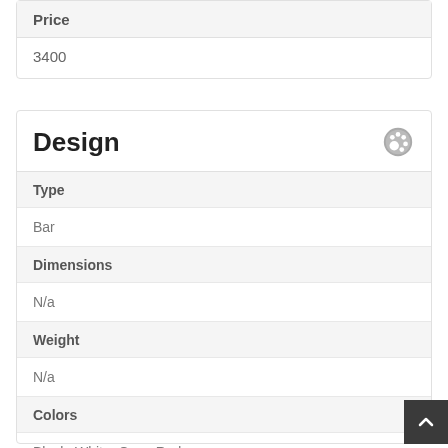| Price |
| --- |
| 3400 |
| Design |
| --- |
| Type | Bar |
| Dimensions | N/a |
| Weight | N/a |
| Colors | Black, White, Gray, Red |